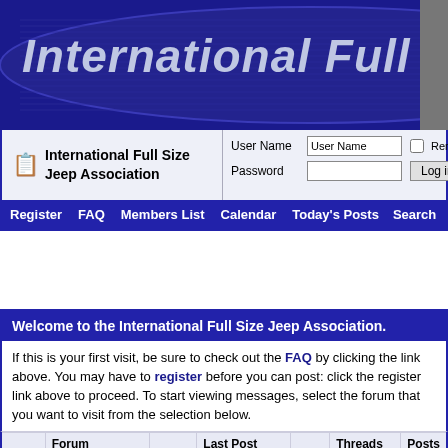[Figure (screenshot): International Full Size Jeep Association website header banner with navy blue background and oval logo area with italic title text]
International Full Size Jeep A...
|  | International Full Size Jeep Association | User Name | Password | Remember M... | Log in |
| --- | --- | --- | --- | --- | --- |
Register  FAQ  Members List  Calendar  Today's Posts  Search
Welcome to the International Full Size Jeep Association.
If this is your first visit, be sure to check out the FAQ by clicking the link above. You may have to register before you can post: click the register link above to proceed. To start viewing messages, select the forum that you want to visit from the selection below.
|  | Forum |  | Last Post |  | Threads | Posts |
| --- | --- | --- | --- | --- | --- | --- |